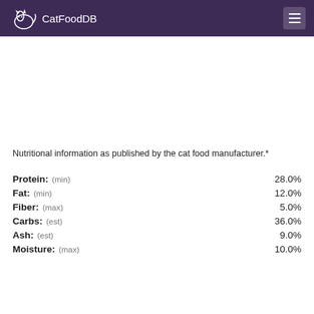CatFoodDB
Nutritional information as published by the cat food manufacturer.*
| Nutrient | Value |
| --- | --- |
| Protein: (min) | 28.0% |
| Fat: (min) | 12.0% |
| Fiber: (max) | 5.0% |
| Carbs: (est) | 36.0% |
| Ash: (est) | 9.0% |
| Moisture: (max) | 10.0% |